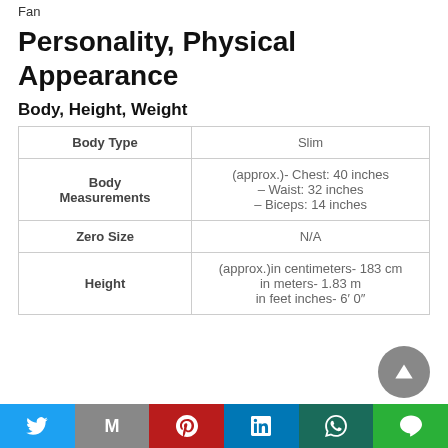Fan
Personality, Physical Appearance
Body, Height, Weight
|  |  |
| --- | --- |
| Body Type | Slim |
| Body Measurements | (approx.)- Chest: 40 inches – Waist: 32 inches – Biceps: 14 inches |
| Zero Size | N/A |
| Height | (approx.)in centimeters- 183 cm
in meters- 1.83 m
in feet inches- 6′ 0″ |